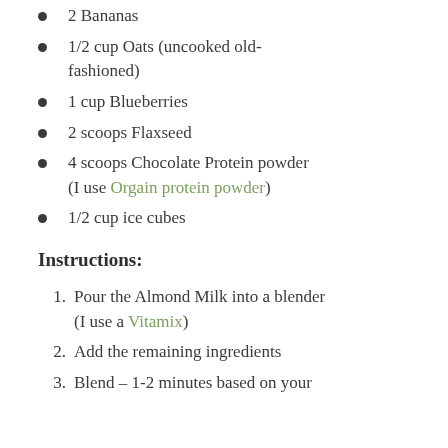2 Bananas
1/2 cup Oats (uncooked old-fashioned)
1 cup Blueberries
2 scoops Flaxseed
4 scoops Chocolate Protein powder (I use Orgain protein powder)
1/2 cup ice cubes
Instructions:
1. Pour the Almond Milk into a blender (I use a Vitamix)
2. Add the remaining ingredients
3. Blend – 1-2 minutes based on your